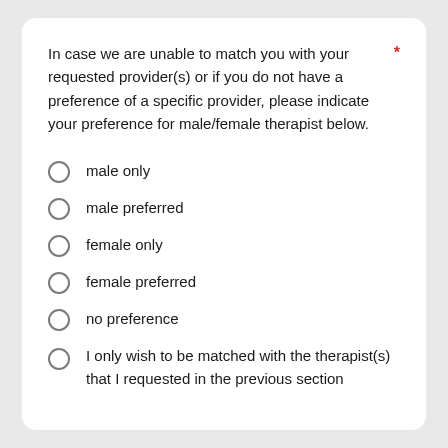In case we are unable to match you with your requested provider(s) or if you do not have a preference of a specific provider, please indicate your preference for male/female therapist below. *
male only
male preferred
female only
female preferred
no preference
I only wish to be matched with the therapist(s) that I requested in the previous section